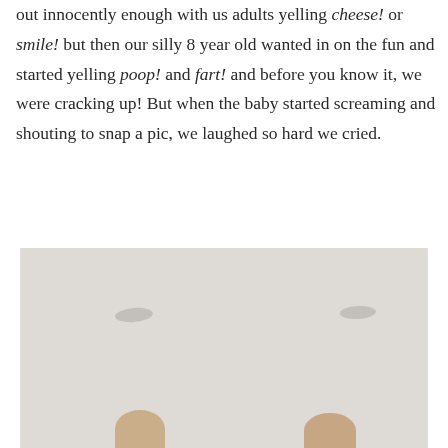out innocently enough with us adults yelling cheese! or smile! but then our silly 8 year old wanted in on the fun and started yelling poop! and fart! and before you know it, we were cracking up! But when the baby started screaming and shouting to snap a pic, we laughed so hard we cried.
[Figure (photo): A photo showing a light beige/gray wall with two recessed ceiling lights visible, and two people's heads barely visible peeking up from the bottom of the frame.]